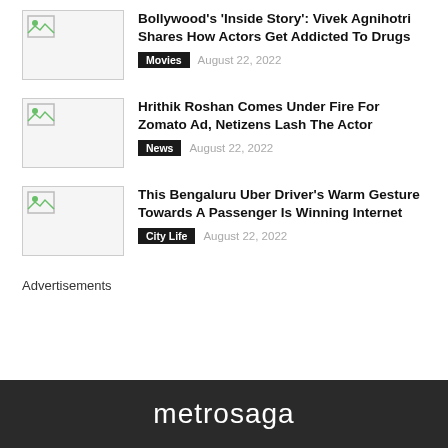Bollywood's 'Inside Story': Vivek Agnihotri Shares How Actors Get Addicted To Drugs | Movies | August 22, 2022
Hrithik Roshan Comes Under Fire For Zomato Ad, Netizens Lash The Actor | News | August 22, 2022
This Bengaluru Uber Driver's Warm Gesture Towards A Passenger Is Winning Internet | City Life | August 22, 2022
Advertisements
metrosaga